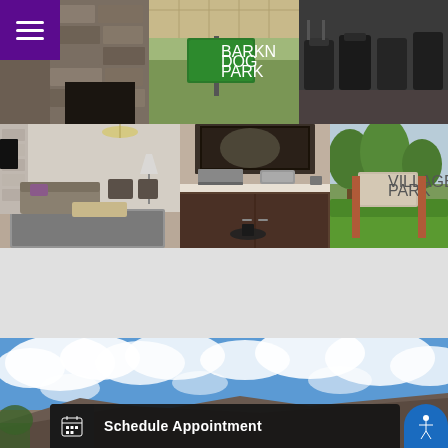[Figure (photo): 6-photo grid gallery showing apartment community: stone fireplace exterior, dog park sign, fitness equipment, living room interior, business center desk, landscaped entrance sign]
[Figure (photo): Exterior photo of apartment building with blue sky and clouds]
Schedule Appointment